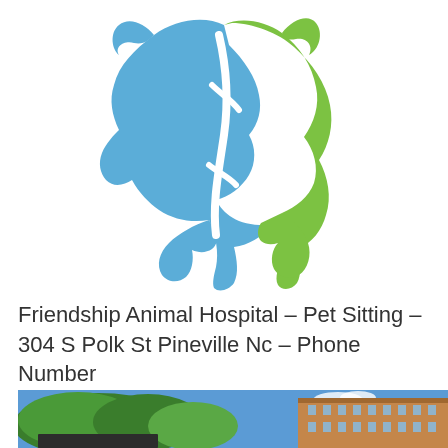[Figure (logo): Circular logo composed of two animal silhouettes forming a globe shape — a blue dog/cat silhouette on the left and a green cat/animal silhouette on the right, with white swirling lines between them.]
Friendship Animal Hospital – Pet Sitting – 304 S Polk St Pineville Nc – Phone Number
[Figure (photo): Outdoor photograph showing green trees in the foreground and a multi-story brick apartment or hotel building on the right side under a blue sky with white clouds. A dark sign is visible at the bottom left.]